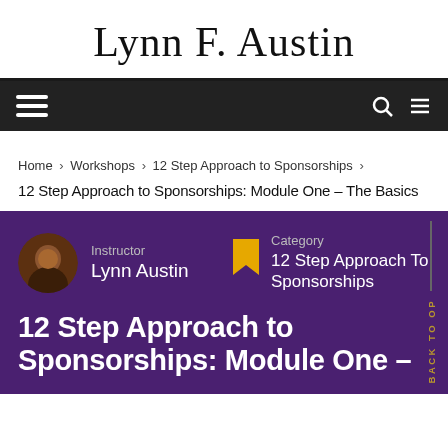Lynn F. Austin
Navigation bar with hamburger menu, search icon, and menu icon
Home > Workshops > 12 Step Approach to Sponsorships > 12 Step Approach to Sponsorships: Module One – The Basics
Instructor Lynn Austin
Category 12 Step Approach To Sponsorships
12 Step Approach to Sponsorships: Module One –